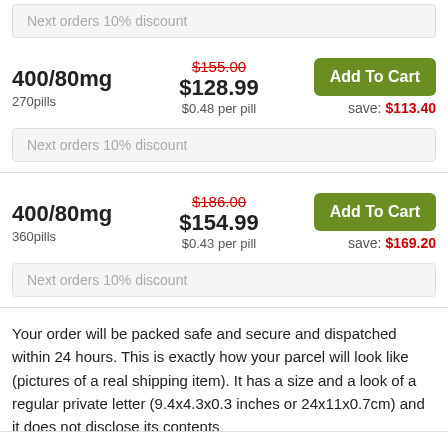Next orders 10% discount
| 400/80mg
270pills | $155.00 $128.99
$0.48 per pill | Add To Cart
save: $113.40 |
Next orders 10% discount
| 400/80mg
360pills | $186.00 $154.99
$0.43 per pill | Add To Cart
save: $169.20 |
Next orders 10% discount
Your order will be packed safe and secure and dispatched within 24 hours. This is exactly how your parcel will look like (pictures of a real shipping item). It has a size and a look of a regular private letter (9.4x4.3x0.3 inches or 24x11x0.7cm) and it does not disclose its contents